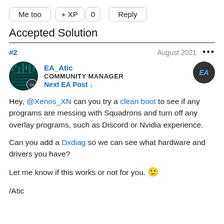Me too | +XP 0 | Reply
Accepted Solution
#2   August 2021 ...
[Figure (photo): Avatar of EA_Atic with EA badge]
EA_Atic
COMMUNITY MANAGER
Next EA Post ↓
[Figure (logo): EA logo circle badge]
Hey, @Xenos_XN can you try a clean boot to see if any programs are messing with Squadrons and turn off any overlay programs, such as Discord or Nvidia experience.

Can you add a Dxdiag so we can see what hardware and drivers you have?

Let me know if this works or not for you. 🙂

/Atic